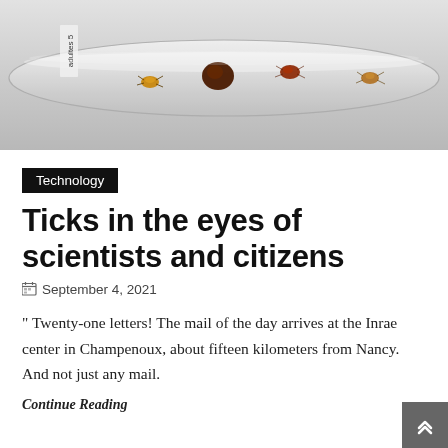[Figure (photo): A glass test tube containing multiple ticks (insects) of various sizes, with a label partially visible reading 'adultes 5', set against a light gray background.]
Technology
Ticks in the eyes of scientists and citizens
September 4, 2021
" Twenty-one letters! The mail of the day arrives at the Inrae center in Champenoux, about fifteen kilometers from Nancy. And not just any mail.
Continue Reading